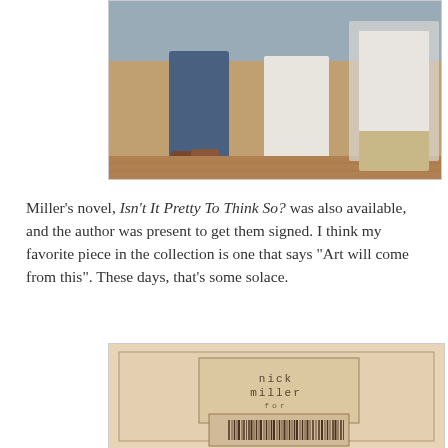[Figure (photo): Photo showing people standing in what appears to be a store or gallery, lower halves visible with jeans and shoes, wooden floor visible]
Miller's novel, Isn't It Pretty To Think So? was also available, and the author was present to get them signed. I think my favorite piece in the collection is one that says "Art will come from this". These days, that's some solace.
[Figure (photo): Photo of a book or card with typewriter-font text reading 'nick miller for' with a barcode below, set against a beige background with nested rectangular borders]